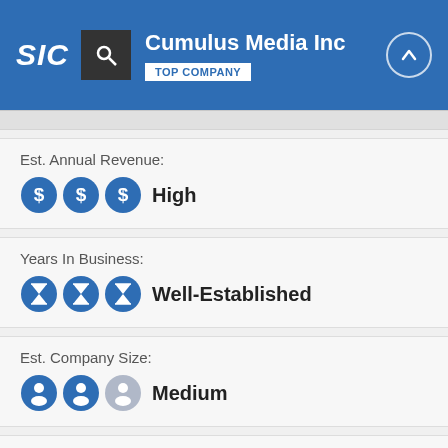SIC | Cumulus Media Inc | TOP COMPANY
Est. Annual Revenue:
High
Years In Business:
Well-Established
Est. Company Size:
Medium
City Size:
Medium